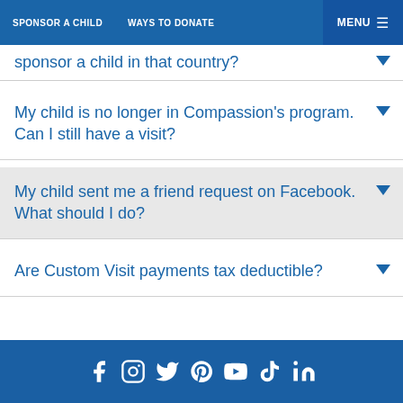SPONSOR A CHILD   WAYS TO DONATE   MENU
sponsor a child in that country?
My child is no longer in Compassion's program. Can I still have a visit?
My child sent me a friend request on Facebook. What should I do?
Are Custom Visit payments tax deductible?
Social media icons: Facebook, Instagram, Twitter, Pinterest, YouTube, TikTok, LinkedIn